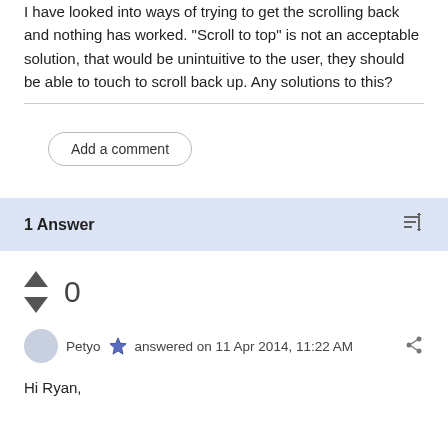I have looked into ways of trying to get the scrolling back and nothing has worked. "Scroll to top" is not an acceptable solution, that would be unintuitive to the user, they should be able to touch to scroll back up.  Any solutions to this?
Add a comment
1 Answer
0
Petyo answered on 11 Apr 2014, 11:22 AM
Hi Ryan,